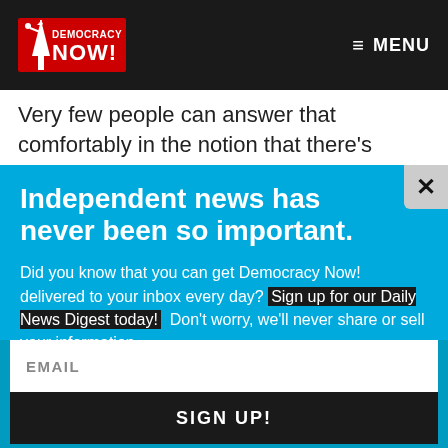Democracy Now! — MENU
Very few people can answer that comfortably in the notion that there's really nothing more they can do
Independent news has never been so important.
Did you know that you can get Democracy Now! delivered to your inbox every day? Sign up for our Daily News Digest today! Don't worry, we'll never share or sell your information.
EMAIL
SIGN UP!